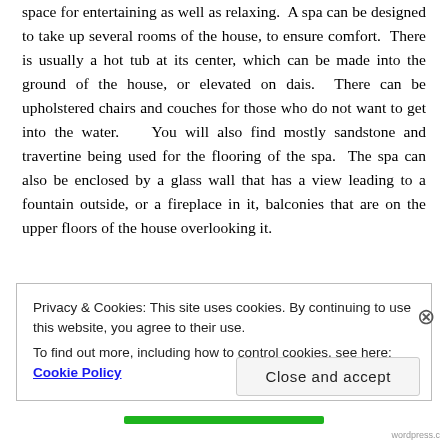space for entertaining as well as relaxing.  A spa can be designed to take up several rooms of the house, to ensure comfort.  There is usually a hot tub at its center, which can be made into the ground of the house, or elevated on dais.  There can be upholstered chairs and couches for those who do not want to get into the water.    You will also find mostly sandstone and travertine being used for the flooring of the spa.  The spa can also be enclosed by a glass wall that has a view leading to a fountain outside, or a fireplace in it, balconies that are on the upper floors of the house overlooking it.
Privacy & Cookies: This site uses cookies. By continuing to use this website, you agree to their use.
To find out more, including how to control cookies, see here: Cookie Policy
Close and accept